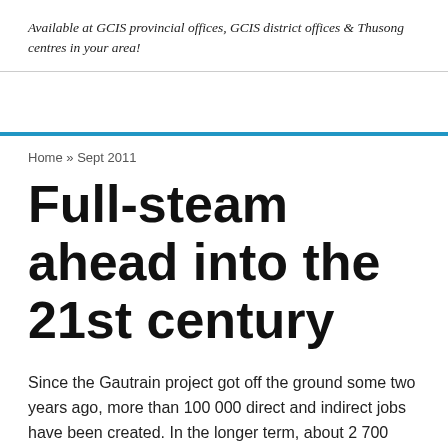Available at GCIS provincial offices, GCIS district offices & Thusong centres in your area!
Home » Sept 2011
Full-steam ahead into the 21st century
Since the Gautrain project got off the ground some two years ago, more than 100 000 direct and indirect jobs have been created. In the longer term, about 2 700 direct and indirect jobs a year would be